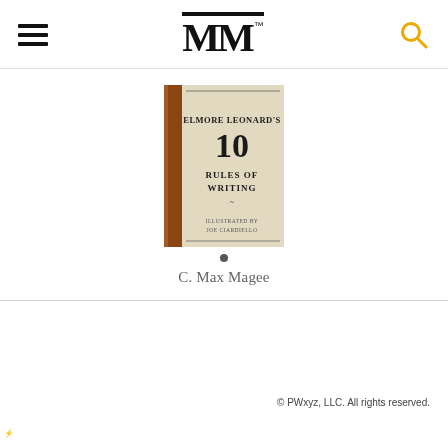MM (logo)
[Figure (photo): Book cover of 'Elmore Leonard's 10 Rules of Writing', illustrated by Joe Ciardiello. The cover is cream/beige with a brown spine and displays the title in bold serif type with a decorative emblem.]
C. Max Magee
© PWxyz, LLC. All rights reserved.